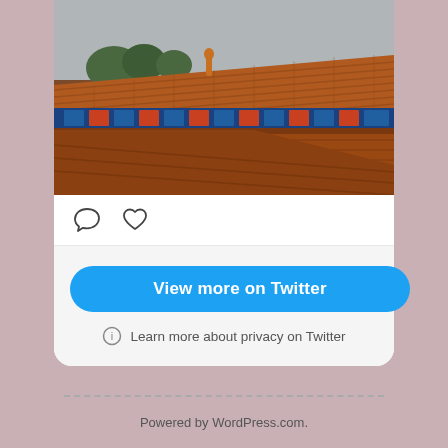[Figure (photo): Photo of traditional Chinese architecture (Forbidden City) showing ornate orange/red tiled rooftops with decorative ridge ornaments, colorful painted beams, and trees in the background under a gray sky.]
[Figure (infographic): Social media card icons row showing a speech bubble (comment) icon and a heart (like) icon in outline style.]
View more on Twitter
Learn more about privacy on Twitter
Powered by WordPress.com.